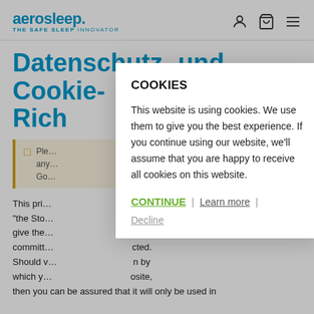aerosleep. THE SAFE SLEEP INNOVATOR
Datenschutz- und Cookie-Richtlinien
Please note: ... add any ... Go
This privacy ... hereafter "the Sto... that you give the... The Store is committ... protected. Should ... n by which y... website, then you can be assured that it will only be used in
COOKIES
This website is using cookies. We use them to give you the best experience. If you continue using our website, we'll assume that you are happy to receive all cookies on this website.
CONTINUE | Learn more | Decline